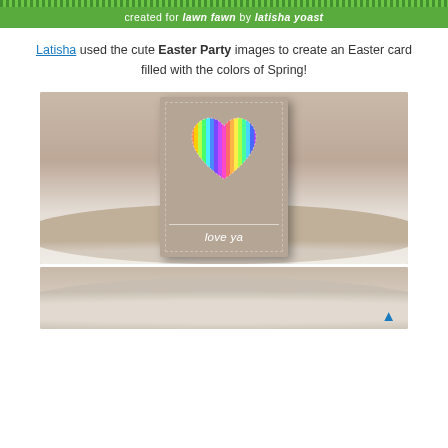created for lawn fawn by latisha yoast
Latisha used the cute Easter Party images to create an Easter card filled with the colors of Spring!
[Figure (photo): A handmade Easter card on a kraft/tan cardstock with a heart-shaped cutout revealing rainbow-striped paper inside, and the text 'love ya' below the heart, displayed against a blurred bookshelf background.]
[Figure (photo): Partial view of a second crafted card, blurred, with a back-to-top arrow icon visible at bottom right.]